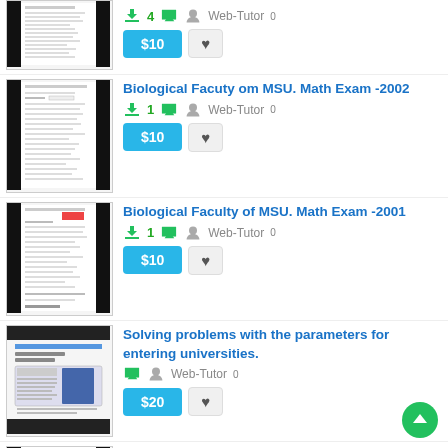[Figure (screenshot): Thumbnail of Biological Faculty om MSU Math Exam 2002 document]
Biological Facuty om MSU. Math Exam -2002
1 download, Web-Tutor 0
$10 price button, heart button
[Figure (screenshot): Thumbnail of Biological Faculty of MSU Math Exam 2001 document]
Biological Faculty of MSU. Math Exam -2001
1 download, Web-Tutor 0
$10 price button, heart button
[Figure (screenshot): Thumbnail of Solving problems with parameters for entering universities document]
Solving problems with the parameters for entering universities.
Web-Tutor 0
$20 price button, heart button
CMC MSU. Problem Solving math exam